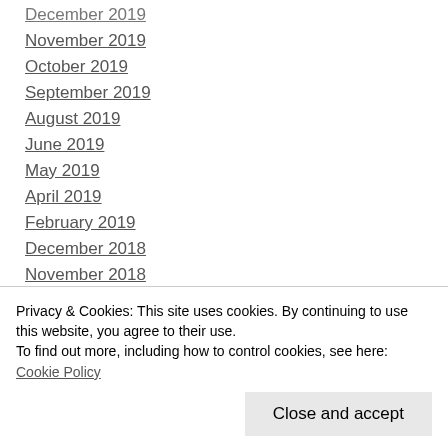December 2019
November 2019
October 2019
September 2019
August 2019
June 2019
May 2019
April 2019
February 2019
December 2018
November 2018
October 2018
September 2018
Privacy & Cookies: This site uses cookies. By continuing to use this website, you agree to their use. To find out more, including how to control cookies, see here: Cookie Policy
March 2018